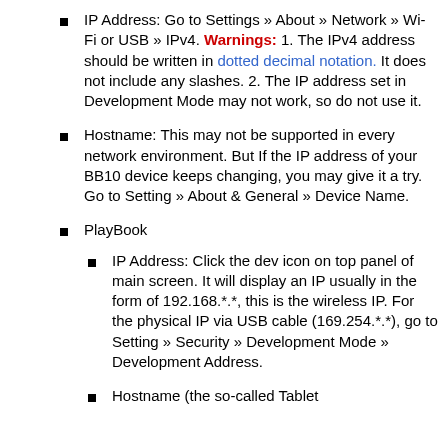IP Address: Go to Settings » About » Network » Wi-Fi or USB » IPv4. Warnings: 1. The IPv4 address should be written in dotted decimal notation. It does not include any slashes. 2. The IP address set in Development Mode may not work, so do not use it.
Hostname: This may not be supported in every network environment. But If the IP address of your BB10 device keeps changing, you may give it a try. Go to Setting » About & General » Device Name.
PlayBook
IP Address: Click the dev icon on top panel of main screen. It will display an IP usually in the form of 192.168.*.*, this is the wireless IP. For the physical IP via USB cable (169.254.*.*), go to Setting » Security » Development Mode » Development Address.
Hostname (the so-called Tablet